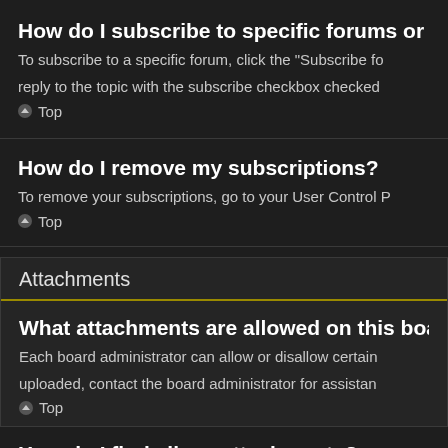How do I subscribe to specific forums or to...
To subscribe to a specific forum, click the “Subscribe fo... reply to the topic with the subscribe checkbox checked...
◔ Top
How do I remove my subscriptions?
To remove your subscriptions, go to your User Control P...
◔ Top
Attachments
What attachments are allowed on this boar...
Each board administrator can allow or disallow certain... uploaded, contact the board administrator for assistan...
◔ Top
How do I find all my attachments?
To find your list of attachments that you have upl...